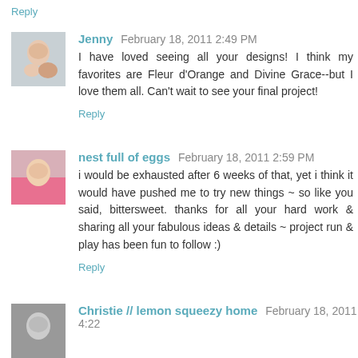Reply
Jenny  February 18, 2011 2:49 PM
I have loved seeing all your designs! I think my favorites are Fleur d'Orange and Divine Grace--but I love them all. Can't wait to see your final project!
Reply
nest full of eggs  February 18, 2011 2:59 PM
i would be exhausted after 6 weeks of that, yet i think it would have pushed me to try new things ~ so like you said, bittersweet. thanks for all your hard work & sharing all your fabulous ideas & details ~ project run & play has been fun to follow :)
Reply
Christie // lemon squeezy home  February 18, 2011 4:22